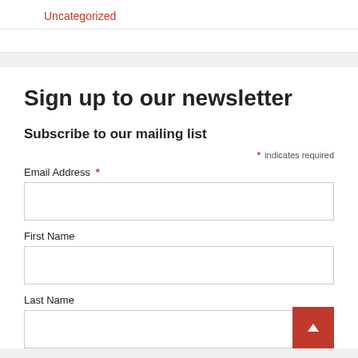Uncategorized
Sign up to our newsletter
Subscribe to our mailing list
* indicates required
Email Address *
First Name
Last Name